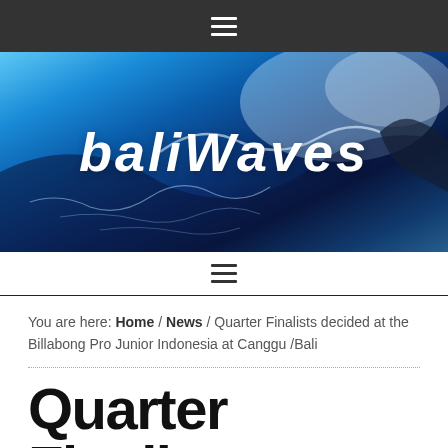≡ (hamburger menu icon)
[Figure (photo): baliwaves website header banner with large ocean wave photo in blue tones and the 'baliwaves' logo text in white italic bold font centered on the image]
≡ (hamburger menu icon, secondary nav)
You are here: Home / News / Quarter Finalists decided at the Billabong Pro Junior Indonesia at Canggu /Bali
Quarter Finalists